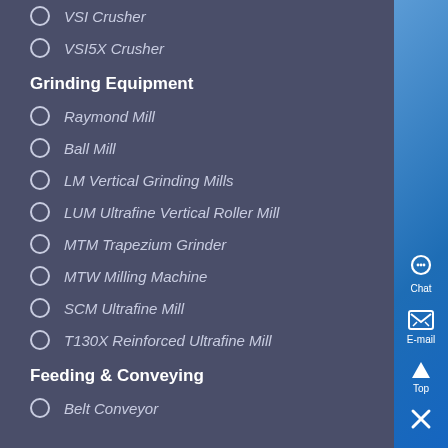VSI Crusher
VSI5X Crusher
Grinding Equipment
Raymond Mill
Ball Mill
LM Vertical Grinding Mills
LUM Ultrafine Vertical Roller Mill
MTM Trapezium Grinder
MTW Milling Machine
SCM Ultrafine Mill
T130X Reinforced Ultrafine Mill
Feeding & Conveying
Belt Conveyor